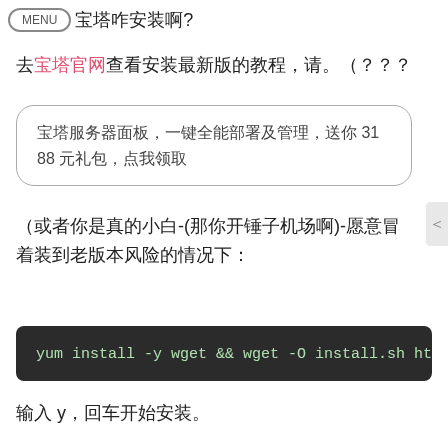MENU 宝塔咋安装啊?
去宝塔官网查看安装最新版的教程，请。（？？？
宝塔服务器面板，一键全能部署及管理，送你 3188 元礼包，点我领取
（或者你是真的小白-(那你开锤子机场啊)-愿意冒着装到老版本风险的情况下：
yum install -y wget && wget -O install.sh http
输入 y，回车开始安装。